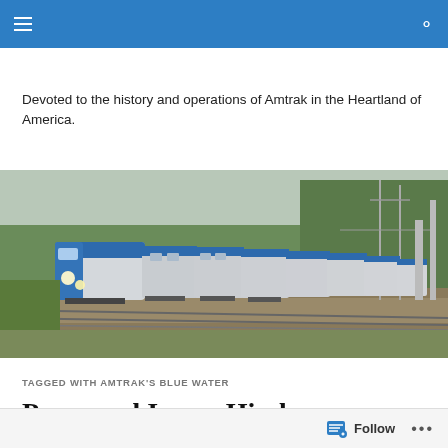Navigation bar with hamburger menu and search icon
Devoted to the history and operations of Amtrak in the Heartland of America.
[Figure (photo): Photograph of an Amtrak passenger train with a blue and silver locomotive traveling along a track through a green wooded area, with overhead electrical infrastructure visible on the right side.]
TAGGED WITH AMTRAK'S BLUE WATER
Personnel Issues Hinder
Follow